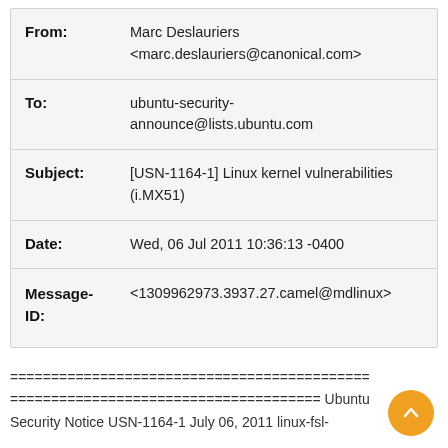| Field | Value |
| --- | --- |
| From: | Marc Deslauriers <marc.deslauriers@canonical.com> |
| To: | ubuntu-security-announce@lists.ubuntu.com |
| Subject: | [USN-1164-1] Linux kernel vulnerabilities (i.MX51) |
| Date: | Wed, 06 Jul 2011 10:36:13 -0400 |
| Message-ID: | <1309962973.3937.27.camel@mdlinux> |
============================================ ====================================== Ubuntu Security Notice USN-1164-1 July 06, 2011 linux-fsl-